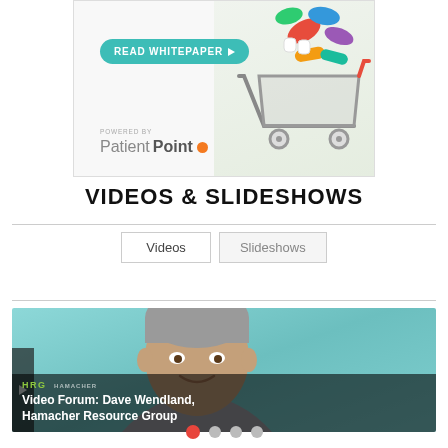[Figure (illustration): PatientPoint advertisement banner with a shopping cart filled with medications/capsules. Contains a teal 'READ WHITEPAPER' button with arrow and PatientPoint logo with orange dot at bottom left. Cart image is on the right side of the banner.]
VIDEOS & SLIDESHOWS
[Figure (screenshot): Tab navigation UI with 'Videos' and 'Slideshows' tab buttons separated by horizontal divider lines.]
[Figure (photo): Video thumbnail showing a man with gray hair smiling against a teal background. The HRG (Hamacher Resource Group) logo is visible. A dark overlay at the bottom shows the title: 'Video Forum: Dave Wendland, Hamacher Resource Group'. Navigation dots appear at the bottom (4 dots, first one active/red).]